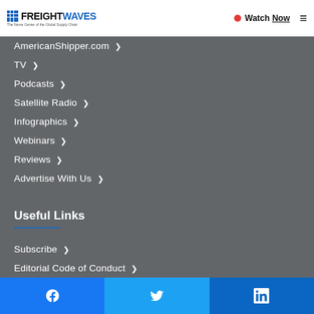FreightWaves - The Nerve Center of the Global Supply Chain | Watch Now
AmericanShipper.com
TV
Podcasts
Satellite Radio
Infographics
Webinars
Reviews
Advertise With Us
Useful Links
Subscribe
Editorial Code of Conduct
SONAR User Agreement
SONAR API Explorer
Facebook | Twitter | LinkedIn